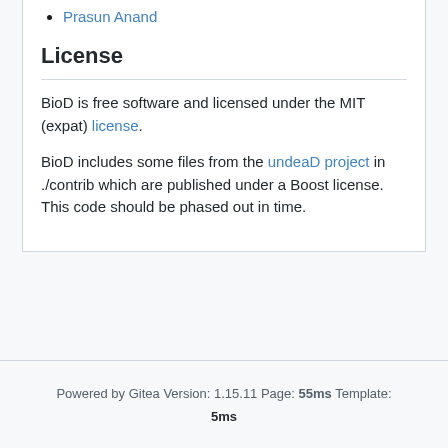Prasun Anand
License
BioD is free software and licensed under the MIT (expat) license.
BioD includes some files from the undeaD project in ./contrib which are published under a Boost license. This code should be phased out in time.
Powered by Gitea Version: 1.15.11 Page: 55ms Template: 5ms